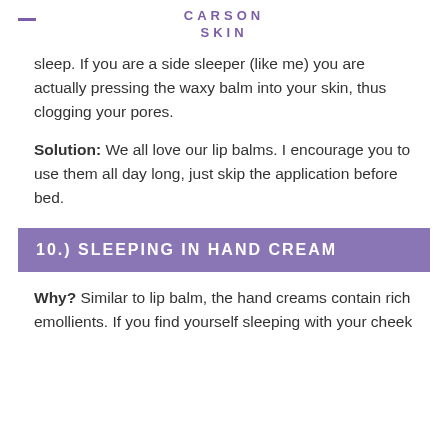CARSON SKIN
sleep. If you are a side sleeper (like me) you are actually pressing the waxy balm into your skin, thus clogging your pores.
Solution: We all love our lip balms. I encourage you to use them all day long, just skip the application before bed.
10.) SLEEPING IN HAND CREAM
Why? Similar to lip balm, the hand creams contain rich emollients. If you find yourself sleeping with your cheek